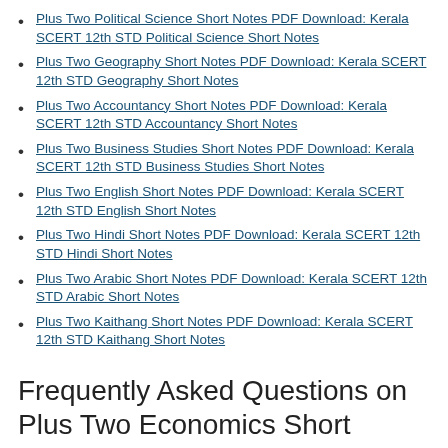Plus Two Political Science Short Notes PDF Download: Kerala SCERT 12th STD Political Science Short Notes
Plus Two Geography Short Notes PDF Download: Kerala SCERT 12th STD Geography Short Notes
Plus Two Accountancy Short Notes PDF Download: Kerala SCERT 12th STD Accountancy Short Notes
Plus Two Business Studies Short Notes PDF Download: Kerala SCERT 12th STD Business Studies Short Notes
Plus Two English Short Notes PDF Download: Kerala SCERT 12th STD English Short Notes
Plus Two Hindi Short Notes PDF Download: Kerala SCERT 12th STD Hindi Short Notes
Plus Two Arabic Short Notes PDF Download: Kerala SCERT 12th STD Arabic Short Notes
Plus Two Kaithang Short Notes PDF Download: Kerala SCERT 12th STD Kaithang Short Notes
Frequently Asked Questions on Plus Two Economics Short Notes